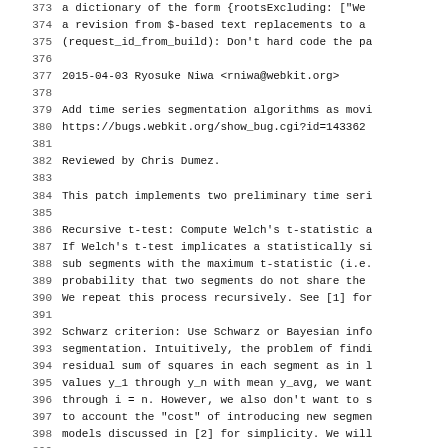373  a dictionary of the form {rootsExcluding: ["We
374  a revision from $-based text replacements to a
375  (request_id_from_build): Don't hard code the pa
376
377 2015-04-03  Ryosuke Niwa  <rniwa@webkit.org>
378
379        Add time series segmentation algorithms as movi
380        https://bugs.webkit.org/show_bug.cgi?id=143362
381
382        Reviewed by Chris Dumez.
383
384        This patch implements two preliminary time seri
385
386        Recursive t-test: Compute Welch's t-statistic a
387        If Welch's t-test implicates a statistically si
388        sub segments with the maximum t-statistic (i.e.
389        probability that two segments do not share the
390        We repeat this process recursively. See [1] for
391
392        Schwarz criterion: Use Schwarz or Bayesian info
393        segmentation. Intuitively, the problem of findi
394        residual sum of squares in each segment as in l
395        values y_1 through y_n with mean y_avg, we want
396        through i = n. However, we also don't want to s
397        to account the "cost" of introducing new segmen
398        models discussed in [2] for simplicity. We will
399
400        The problem of finding the best segmentation th
401        space is exponential with respect to the size o
402        We workaround this problem by first splitting t
403        considering segmentation of a fixed size (i.e.
404        tend to contain a lot more data points than seg
405        ...